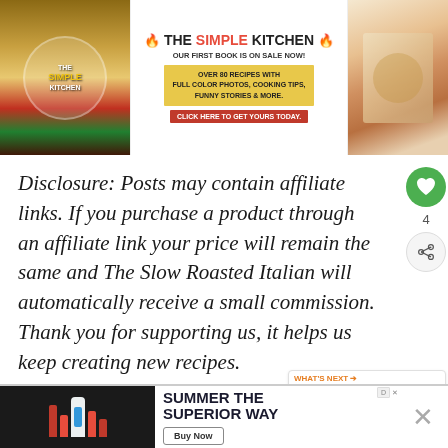[Figure (illustration): The Simple Kitchen book promotional banner with food images on left and right, center text advertising the book on sale]
Disclosure: Posts may contain affiliate links. If you purchase a product through an affiliate link your price will remain the same and The Slow Roasted Italian will automatically receive a small commission. Thank you for supporting us, it helps us keep creating new recipes.
[Figure (other): Green heart/like button showing count of 4, and a share button]
[Figure (other): What's Next callout showing Iced Cinnamon... with a thumbnail image]
[Figure (other): Bottom advertisement banner: Summer The Superior Way with Buy Now button and X close button]